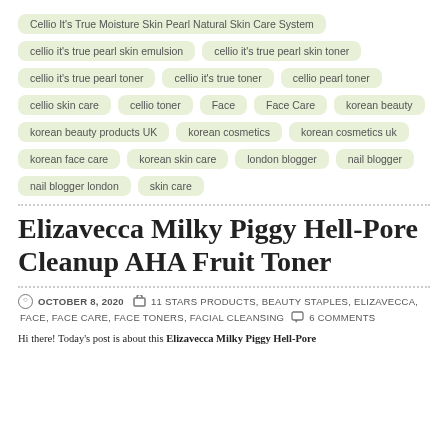Cellio It's True Moisture Skin Pearl Natural Skin Care System
cellio it's true pearl skin emulsion
cellio it's true pearl skin toner
cellio it's true pearl toner
cellio it's true toner
cellio pearl toner
cellio skin care
cellio toner
Face
Face Care
korean beauty
korean beauty products UK
korean cosmetics
korean cosmetics uk
korean face care
korean skin care
london blogger
nail blogger
nail blogger london
skin care
Elizavecca Milky Piggy Hell-Pore Cleanup AHA Fruit Toner
OCTOBER 8, 2020   11 STARS PRODUCTS, BEAUTY STAPLES, ELIZAVECCA, FACE, FACE CARE, FACE TONERS, FACIAL CLEANSING   6 COMMENTS
Hi there! Today's post is about this Elizavecca Milky Piggy Hell-Pore